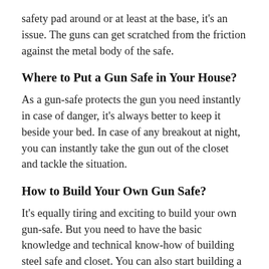safety pad around or at least at the base, it's an issue. The guns can get scratched from the friction against the metal body of the safe.
Where to Put a Gun Safe in Your House?
As a gun-safe protects the gun you need instantly in case of danger, it's always better to keep it beside your bed. In case of any breakout at night, you can instantly take the gun out of the closet and tackle the situation.
How to Build Your Own Gun Safe?
It's equally tiring and exciting to build your own gun-safe. But you need to have the basic knowledge and technical know-how of building steel safe and closet. You can also start building a safe around but that